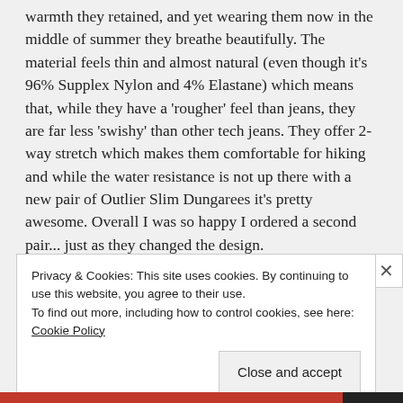warmth they retained, and yet wearing them now in the middle of summer they breathe beautifully. The material feels thin and almost natural (even though it's 96% Supplex Nylon and 4% Elastane) which means that, while they have a 'rougher' feel than jeans, they are far less 'swishy' than other tech jeans. They offer 2-way stretch which makes them comfortable for hiking and while the water resistance is not up there with a new pair of Outlier Slim Dungarees it's pretty awesome. Overall I was so happy I ordered a second pair... just as they changed the design.
Privacy & Cookies: This site uses cookies. By continuing to use this website, you agree to their use. To find out more, including how to control cookies, see here: Cookie Policy
Close and accept